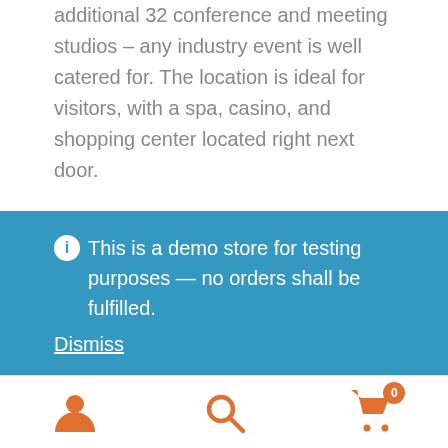additional 32 conference and meeting studios – any industry event is well catered for. The location is ideal for visitors, with a spa, casino, and shopping center located right next door.
Getting there
Birmingham is located in the midlands, meaning it
ⓘ This is a demo store for testing purposes — no orders shall be fulfilled.
Dismiss
[Figure (infographic): Bottom navigation bar with person icon, search icon, and shopping cart icon with badge showing 0]